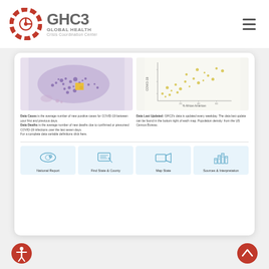[Figure (logo): GHC3 Global Health Crisis Coordination Center logo with red segmented circular emblem and grey text]
[Figure (map): US choropleth map showing COVID-19 data by county with purple/pink shading]
[Figure (scatter-plot): Scatter plot showing COVID-19 cases vs % African American population with yellow/green dots]
Data Cases is the average number of new positive cases for COVID-19 between your first and previous days. Data Deaths is the average number of new deaths due to confirmed or presumed COVID-19 infections over the last seven days. For a complete data variable definitions click here.
Data Last Updated: GHC3's data is updated every weekday. The data last update can be found in the bottom right of each map. Population density: from the US Census Bureau.
[Figure (infographic): Navigation icon for National Report - US map with magnifier icon]
[Figure (infographic): Navigation icon for Find State & County - screen with data lines and cursor]
[Figure (infographic): Navigation icon for Map State - video camera or map icon]
[Figure (infographic): Navigation icon for Sources & Interpretation - bar chart buildings icon]